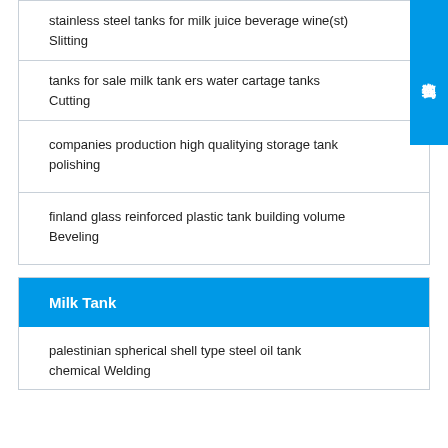stainless steel tanks for milk juice beverage wine(st) Slitting
tanks for sale milk tank ers water cartage tanks Cutting
companies production high qualitying storage tank polishing
finland glass reinforced plastic tank building volume Beveling
Milk Tank
palestinian spherical shell type steel oil tank chemical Welding